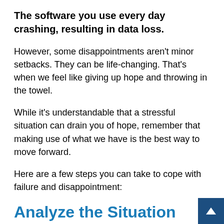The software you use every day crashing, resulting in data loss.
However, some disappointments aren't minor setbacks. They can be life-changing. That's when we feel like giving up hope and throwing in the towel.
While it's understandable that a stressful situation can drain you of hope, remember that making use of what we have is the best way to move forward.
Here are a few steps you can take to cope with failure and disappointment:
Analyze the Situation